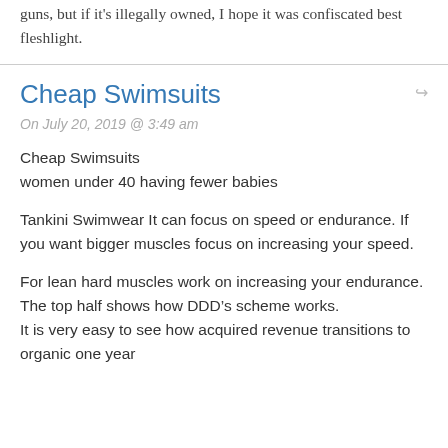There is no law that says college students can't own guns, but if it's illegally owned, I hope it was confiscated best fleshlight.
Cheap Swimsuits
On July 20, 2019 @ 3:49 am
Cheap Swimsuits
women under 40 having fewer babies
Tankini Swimwear It can focus on speed or endurance. If you want bigger muscles focus on increasing your speed.
For lean hard muscles work on increasing your endurance. The top half shows how DDD’s scheme works.
It is very easy to see how acquired revenue transitions to organic one year